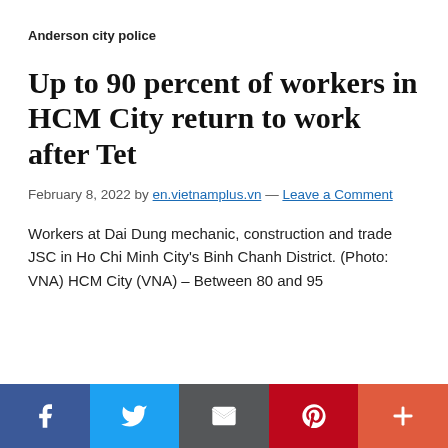Anderson city police
Up to 90 percent of workers in HCM City return to work after Tet
February 8, 2022 by en.vietnamplus.vn — Leave a Comment
Workers at Dai Dung mechanic, construction and trade JSC in Ho Chi Minh City's Binh Chanh District. (Photo: VNA) HCM City (VNA) – Between 80 and 95